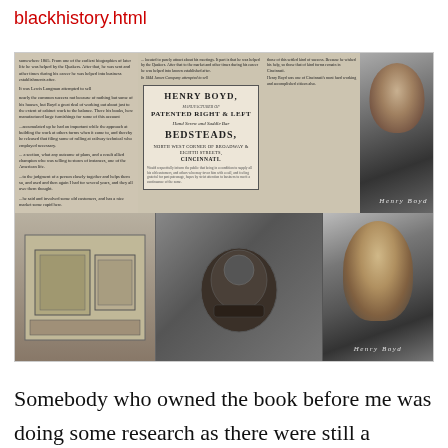blackhistory.html
[Figure (photo): Photograph of an open book page showing historical materials about Henry Boyd, including an advertisement for Henry Boyd's Patented Right & Left Hand Screw Bedsteads at North West Corner of Broadway & Eighth Streets, Cincinnati, a portrait photograph, and images of furniture and a sewing machine.]
Somebody who owned the book before me was doing some research as there were still a couple of hand written notes tucked inside. This is definitely a great